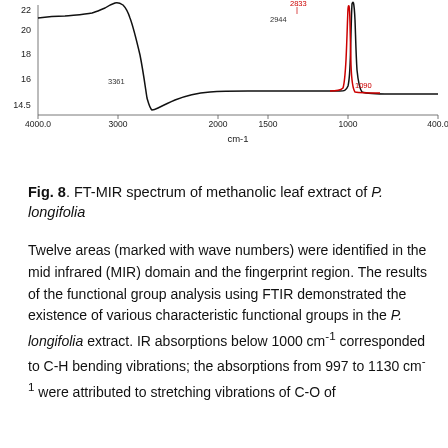[Figure (continuous-plot): FT-MIR spectrum (infrared spectrum) showing partial chart. Y-axis ranges from approximately 14.5 to 22 (transmittance). X-axis shows wavenumber from 4000.0 to 400.0 cm-1. Notable features: a deep absorption trough near 3000 cm-1 (black curve, labeled 3361, 2944, 2833), and a sharp deep peak near 1000 cm-1 (black curve, with a red curve labeled 1090). Axis label 'cm-1' shown below x-axis.]
Fig. 8. FT-MIR spectrum of methanolic leaf extract of P. longifolia
Twelve areas (marked with wave numbers) were identified in the mid infrared (MIR) domain and the fingerprint region. The results of the functional group analysis using FTIR demonstrated the existence of various characteristic functional groups in the P. longifolia extract. IR absorptions below 1000 cm-1 corresponded to C-H bending vibrations; the absorptions from 997 to 1130 cm-1 were attributed to stretching vibrations of C-O of